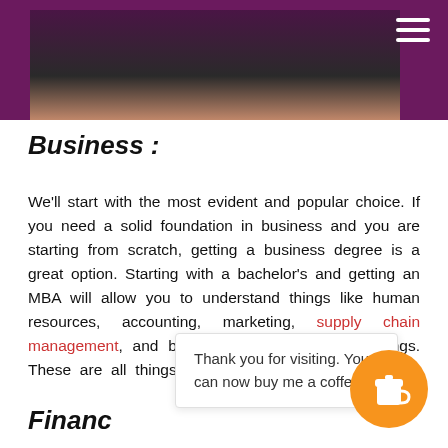[Header image with blog logo and navigation]
Business :
We'll start with the most evident and popular choice. If you need a solid foundation in business and you are starting from scratch, getting a business degree is a great option. Starting with a bachelor's and getting an MBA will allow you to understand things like human resources, accounting, marketing, supply chain management, and business law among other things. These are all things that will allow you to operate a… teams and departmen…
Financ…